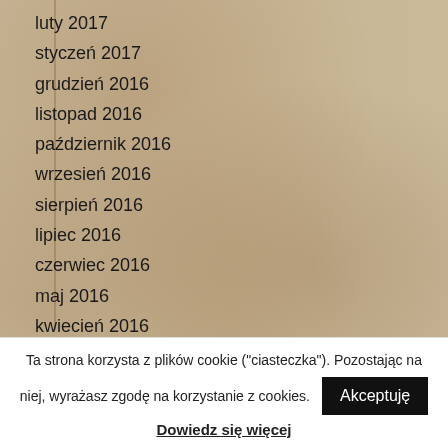luty 2017
styczeń 2017
grudzień 2016
listopad 2016
październik 2016
wrzesień 2016
sierpień 2016
lipiec 2016
czerwiec 2016
maj 2016
kwiecień 2016
marzec 2016
luty 2016
Ta strona korzysta z plików cookie ("ciasteczka"). Pozostając na niej, wyrażasz zgodę na korzystanie z cookies. Akceptuję
Dowiedz się więcej